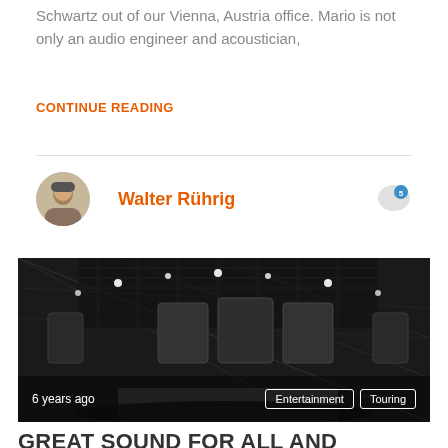Schwartz out of our Vienna, Austria office. Mario is not only an audio engineer and acoustician,
CONTINUE READING
Walter Rührig
[Figure (photo): Black and white photo of a concert stage with elaborate rigging, lighting equipment, and speaker arrays viewed from below. Tags: Entertainment, Touring. Time: 6 years ago.]
GREAT SOUND FOR ALL AND